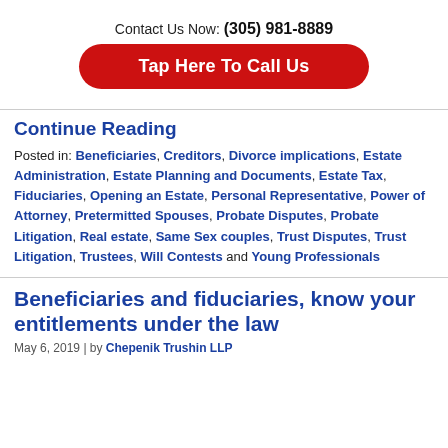Contact Us Now: (305) 981-8889
Tap Here To Call Us
Continue Reading
Posted in: Beneficiaries, Creditors, Divorce implications, Estate Administration, Estate Planning and Documents, Estate Tax, Fiduciaries, Opening an Estate, Personal Representative, Power of Attorney, Pretermitted Spouses, Probate Disputes, Probate Litigation, Real estate, Same Sex couples, Trust Disputes, Trust Litigation, Trustees, Will Contests and Young Professionals
Beneficiaries and fiduciaries, know your entitlements under the law
May 6, 2019 | by Chepenik Trushin LLP